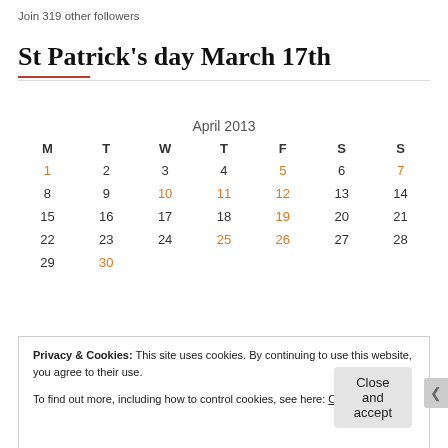Join 319 other followers
St Patrick's day March 17th
| M | T | W | T | F | S | S |
| --- | --- | --- | --- | --- | --- | --- |
| 1 | 2 | 3 | 4 | 5 | 6 | 7 |
| 8 | 9 | 10 | 11 | 12 | 13 | 14 |
| 15 | 16 | 17 | 18 | 19 | 20 | 21 |
| 22 | 23 | 24 | 25 | 26 | 27 | 28 |
| 29 | 30 |  |  |  |  |  |
Privacy & Cookies: This site uses cookies. By continuing to use this website, you agree to their use. To find out more, including how to control cookies, see here: Cookie Policy